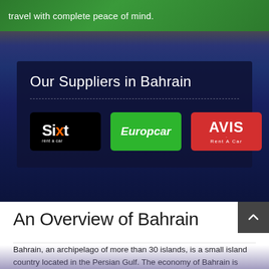travel with complete peace of mind.
Our Suppliers in Bahrain
[Figure (logo): Three car rental supplier logos: SIXT (black background, white text), Europcar (green background, white text), AVIS Rent A Car (red background, white text)]
An Overview of Bahrain
Bahrain, an archipelago of more than 30 islands, is a small island country located in the Persian Gulf. The economy of Bahrain is mainly based on oil production and these days, tourism is also becoming an important resource this small country. Bahrain combines nature with culture and modern architecture, which makes it an interesting destination for tourists. Manama, the capital